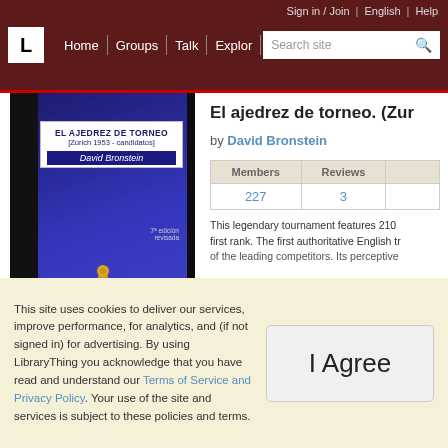Sign in / Join | English | Help | Home | Groups | Talk | Explore | Search site
[Figure (screenshot): Book cover of 'El Ajedrez de Torneo [Zúrich 1953 - candidatos]' by David Bronstein, blue cover with chess piece and silhouette figures]
El ajedrez de torneo. (Zur...
by David Bronstein
| Members | Reviews |
| --- | --- |
| 227 | 3 |
This legendary tournament features 210 ... first rank. The first authoritative English tr... of the leading competitors. Its perceptive...
This site uses cookies to deliver our services, improve performance, for analytics, and (if not signed in) for advertising. By using LibraryThing you acknowledge that you have read and understand our Terms of Service and Privacy Policy. Your use of the site and services is subject to these policies and terms.
I Agree